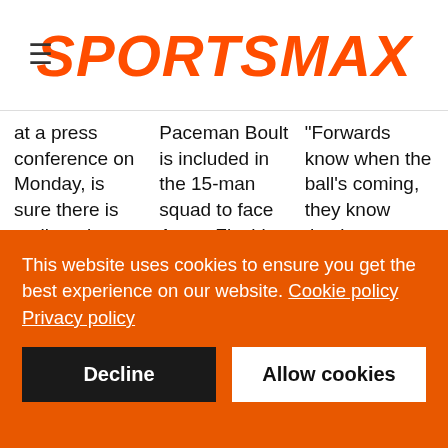SPORTSMAX
at a press conference on Monday, is sure there is no lingering disappointment from last term. "[It] is no longer an
Paceman Boult is included in the 15-man squad to face Aaron Finch's side, but this year's T20 World Cup might well prove the 33-year-old's swansong on the
"Forwards know when the ball's coming, they know they've got a midfield player who is thinking about them even before the ball comes," he said on
This website uses cookies to ensure you get the best experience on our website. Cookie policy
Privacy policy
Decline
Allow cookies